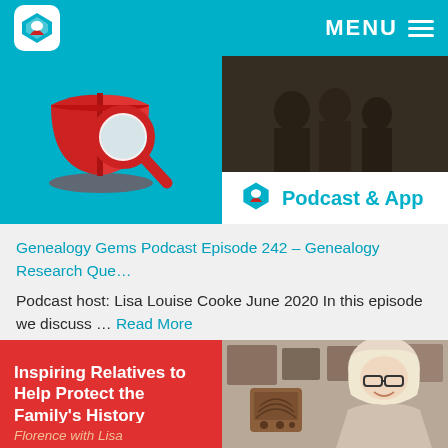MENU
[Figure (logo): Genealogy Gems logo: blue gem with red leaf icon on white rounded square]
[Figure (illustration): Red illustrated book with magnifying glass on teal background (left panel)]
[Figure (photo): Dark vintage group photo of people in old clothing (right panel background)]
[Figure (logo): Small Genealogy Gems gem/leaf icon badge above Podcast & App label]
Podcast & App
Genealogy Gems Podcast Episode 242 – Genealogy Research Que…
Podcast host: Lisa Louise Cooke June 2020 In this episode we discuss … Read More
Inspiring Relatives to Help Protect the Family's History
[Figure (photo): Woman with blonde/white hair and glasses smiling, sitting in front of framed family photos and a vintage radio, in a home office or studio setting]
Florence with Lisa